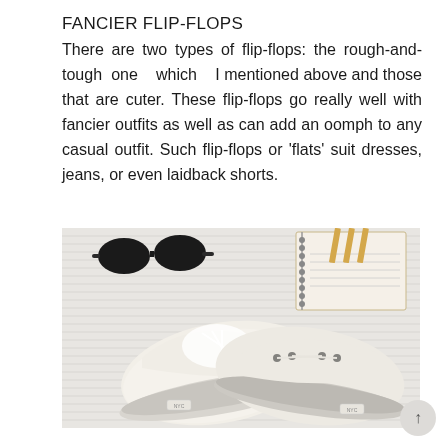FANCIER FLIP-FLOPS
There are two types of flip-flops: the rough-and-tough one which I mentioned above and those that are cuter. These flip-flops go really well with fancier outfits as well as can add an oomph to any casual outfit. Such flip-flops or 'flats' suit dresses, jeans, or even laidback shorts.
[Figure (photo): A pair of white canvas sneakers/flats on a light ribbed surface, with black sunglasses in the upper left and a spiral notebook with pencils in the upper right]